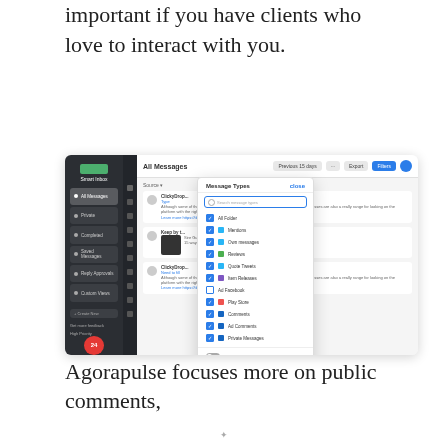important if you have clients who love to interact with you.
[Figure (screenshot): Screenshot of a social media management tool (Smart Inbox) showing All Messages view with a 'Message Types' filter dropdown open, listing options such as All Posts, Mentions, Own messages, Reviews, Quote Tweets, Item Releases, Ad Facebook, Play Store, Comments, Ad Comments, Private Messages, with toggles for 'Show commented messages' and 'Show sent messages'.]
Agorapulse focuses more on public comments,